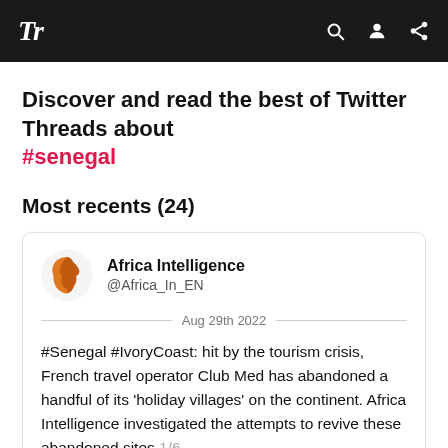Tr
Discover and read the best of Twitter Threads about #senegal
Most recents (24)
Africa Intelligence @Africa_In_EN Aug 29th 2022 — #Senegal #IvoryCoast: hit by the tourism crisis, French travel operator Club Med has abandoned a handful of its 'holiday villages' on the continent. Africa Intelligence investigated the attempts to revive these abandoned sites 1/6